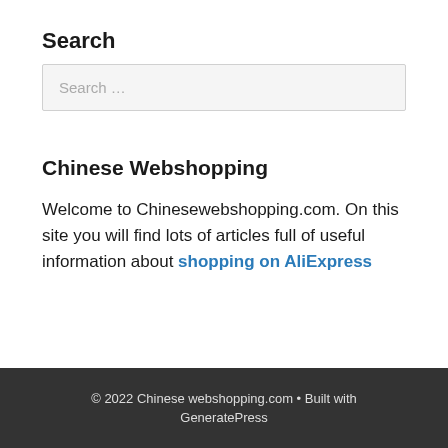Search
Search …
Chinese Webshopping
Welcome to Chinesewebshopping.com. On this site you will find lots of articles full of useful information about shopping on AliExpress
© 2022 Chinese webshopping.com • Built with GeneratePress